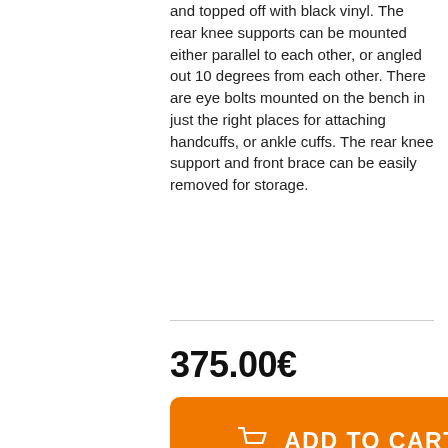and topped off with black vinyl. The rear knee supports can be mounted either parallel to each other, or angled out 10 degrees from each other. There are eye bolts mounted on the bench in just the right places for attaching handcuffs, or ankle cuffs. The rear knee support and front brace can be easily removed for storage.
375.00€
ADD TO CART
Like 0
Save
Description
Reviews